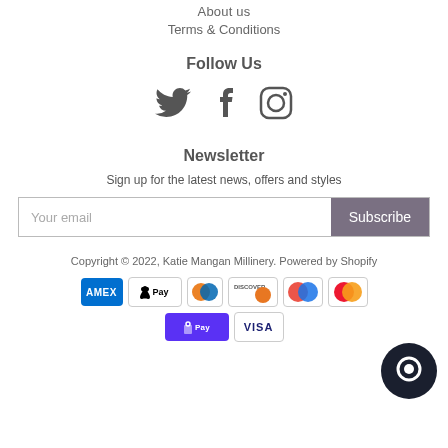About us
Terms & Conditions
Follow Us
[Figure (illustration): Social media icons: Twitter bird, Facebook F, Instagram camera]
Newsletter
Sign up for the latest news, offers and styles
Your email [input] Subscribe [button]
Copyright © 2022, Katie Mangan Millinery. Powered by Shopify
[Figure (illustration): Payment method logos: Amex, Apple Pay, Diners, Discover, Google Pay-like, Mastercard, Shopify Pay, Visa, and a chat bubble icon]